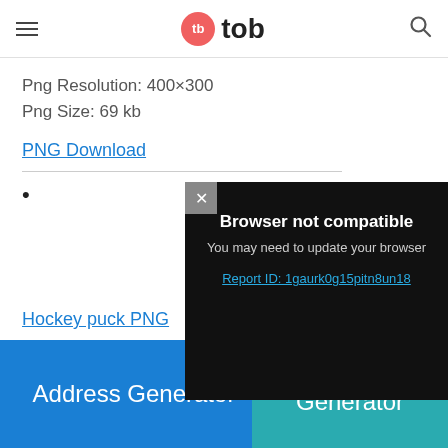tb tob
Png Resolution: 400×300
Png Size: 69 kb
PNG Download
•
[Figure (screenshot): Browser not compatible modal overlay on dark background with close button (×), title 'Browser not compatible', subtitle 'You may need to update your browser', and a report ID link 'Report ID: 1gaurk0g15pitn8un18']
Hockey puck PNG
Powered by GliaStudio
Address Generator
Cool Text Generator